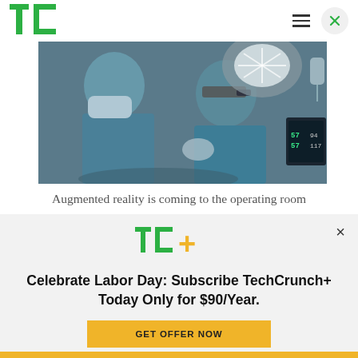TechCrunch logo and navigation
[Figure (photo): Two surgeons in blue scrubs and masks in an operating room; one wearing augmented reality glasses; surgical light overhead; medical monitors visible in background]
Augmented reality is coming to the operating room
[Figure (logo): TechCrunch TC+ logo in green and yellow]
Celebrate Labor Day: Subscribe TechCrunch+ Today Only for $90/Year.
GET OFFER NOW